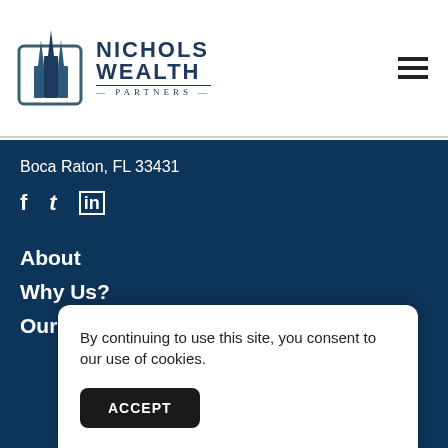[Figure (logo): Nichols Wealth Partners logo with stylized building/skyscraper graphic and text 'NICHOLS WEALTH PARTNERS']
Boca Raton, FL 33431
f  t  in (social media icons: Facebook, Twitter, LinkedIn)
About
Why Us?
Our Process
By continuing to use this site, you consent to our use of cookies.
ACCEPT